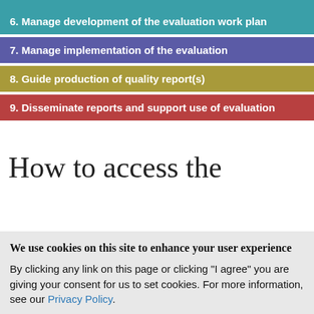6. Manage development of the evaluation work plan
7. Manage implementation of the evaluation
8. Guide production of quality report(s)
9. Disseminate reports and support use of evaluation
How to access the
We use cookies on this site to enhance your user experience
By clicking any link on this page or clicking "I agree" you are giving your consent for us to set cookies. For more information, see our Privacy Policy.